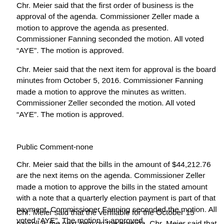Chr. Meier said that the first order of business is the approval of the agenda. Commissioner Zeller made a motion to approve the agenda as presented. Commissioner Fanning seconded the motion. All voted “AYE”. The motion is approved.
Chr. Meier said that the next item for approval is the board minutes from October 5, 2016. Commissioner Fanning made a motion to approve the minutes as written. Commissioner Zeller seconded the motion. All voted “AYE”. The motion is approved.
Public Comment-none
Chr. Meier said that the bills in the amount of $44,212.76 are the next items on the agenda. Commissioner Zeller made a motion to approve the bills in the stated amount with a note that a quarterly election payment is part of that payment. Commissioner Fanning seconded the motion. All voted “AYE”. The motion is approved.
Chr. Meier said that the verifiable for the October 15 payroll is the next item on the agenda. Chr. Meier said that this would be